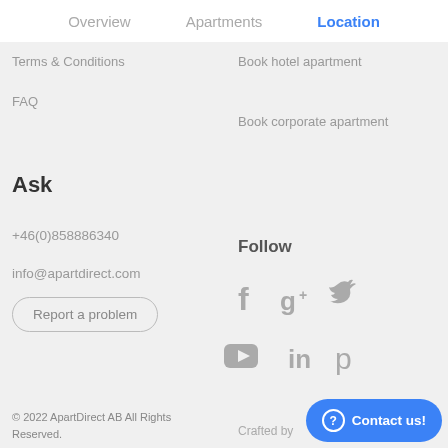Overview  Apartments  Location
Terms & Conditions
Book hotel apartment
FAQ
Book corporate apartment
Ask
Follow
+46(0)858886340
info@apartdirect.com
Report a problem
[Figure (infographic): Social media icons: Facebook, Google+, Twitter, YouTube, LinkedIn, Pinterest]
© 2022 ApartDirect AB All Rights Reserved.
Crafted by
Contact us!